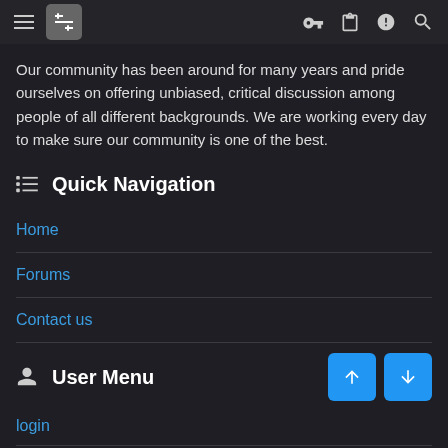Navigation header with hamburger menu, filter icon, and icons for key, clipboard, alert, and search
Our community has been around for many years and pride ourselves on offering unbiased, critical discussion among people of all different backgrounds. We are working every day to make sure our community is one of the best.
Quick Navigation
Home
Forums
Contact us
User Menu
login
Follow us on Facebook